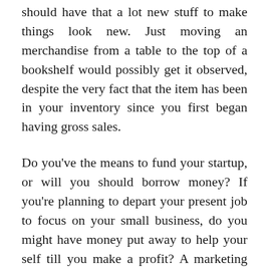should have that a lot new stuff to make things look new. Just moving an merchandise from a table to the top of a bookshelf would possibly get it observed, despite the very fact that the item has been in your inventory since you first began having gross sales.
Do you've the means to fund your startup, or will you should borrow money? If you're planning to depart your present job to focus on your small business, do you might have money put away to help your self till you make a profit? A marketing strategy helps you determine where your organization is going,